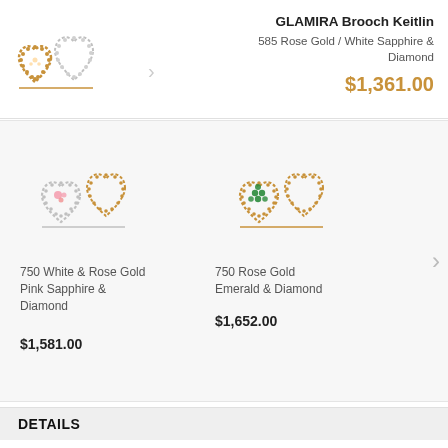GLAMIRA Brooch Keitlin
585 Rose Gold / White Sapphire & Diamond
$1,361.00
[Figure (photo): Double heart brooch in rose gold with white sapphire and diamond accents]
[Figure (photo): Double heart brooch in white and rose gold with pink sapphire and diamond accents]
750 White & Rose Gold Pink Sapphire & Diamond
$1,581.00
[Figure (photo): Double heart brooch in rose gold with emerald and diamond accents]
750 Rose Gold Emerald & Diamond
$1,652.00
DETAILS
GENERAL